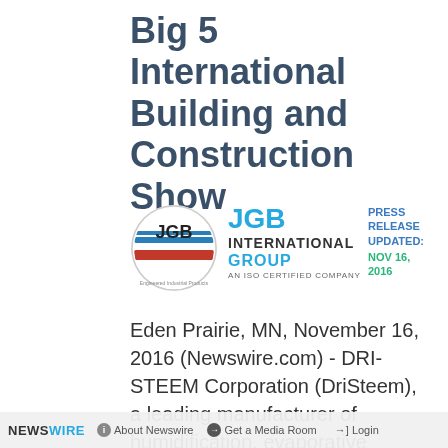Big 5 International Building and Construction Show
[Figure (logo): JGB International Group logo — circular emblem with JGB text and colored wave stripes, next to text reading JGB INTERNATIONAL GROUP AN ISO CERTIFIED COMPANY]
PRESS RELEASE UPDATED: NOV 16, 2016
Eden Prairie, MN, November 16, 2016 (Newswire.com) - DRI-STEEM Corporation (DriSteem), a leading manufacturer of humidification, evaporative cooling, and water treatment systems, is pleased to
NEWSWIRE  About Newswire  Get a Media Room  Login